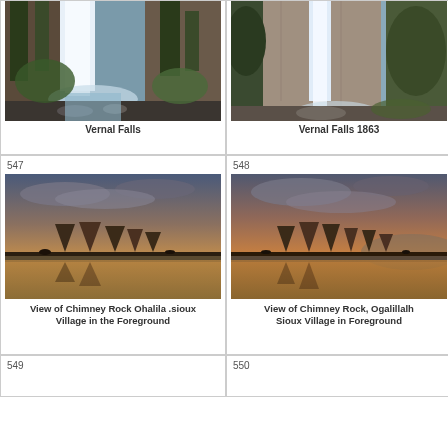[Figure (photo): Painting of Vernal Falls waterfall with tall trees and rocky river]
Vernal Falls
[Figure (photo): Painting of Vernal Falls 1863 waterfall with steep cliff face and trees]
Vernal Falls 1863
547
[Figure (photo): Painting of View of Chimney Rock Ohalila .sioux Village in the Foreground with tepees at sunset]
View of Chimney Rock Ohalila .sioux Village in the Foreground
548
[Figure (photo): Painting of View of Chimney Rock, Ogalillalh Sioux Village in Foreground with tepees at sunset]
View of Chimney Rock, Ogalillalh Sioux Village in Foreground
549
550